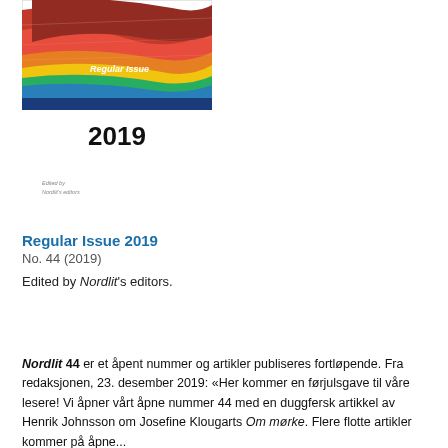[Figure (illustration): Cover image of a journal titled 'Regular Issue 2019', showing a colorful abstract textile/fabric pattern at the top in red, blue, yellow and green, with 'Regular Issue' and '2019' text overlaid, and 'Edited by Nordlit's editors' at the bottom of the cover.]
Regular Issue 2019
No. 44 (2019)
Edited by Nordlit's editors.
Nordlit 44 er et åpent nummer og artikler publiseres fortløpende. Fra redaksjonen, 23. desember 2019: «Her kommer en førjulsgave til våre lesere! Vi åpner vårt åpne nummer 44 med en duggfersk artikkel av Henrik Johnsson om Josefine Klougarts Om mørke. Flere flotte artikler kommer på åpne...